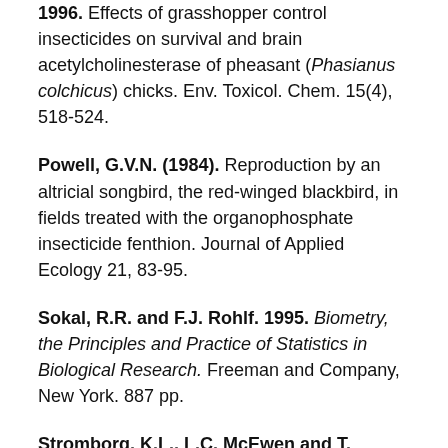1996. Effects of grasshopper control insecticides on survival and brain acetylcholinesterase of pheasant (Phasianus colchicus) chicks. Env. Toxicol. Chem. 15(4), 518-524.
Powell, G.V.N. (1984). Reproduction by an altricial songbird, the red-winged blackbird, in fields treated with the organophosphate insecticide fenthion. Journal of Applied Ecology 21, 83-95.
Sokal, R.R. and F.J. Rohlf. 1995. Biometry, the Principles and Practice of Statistics in Biological Research. Freeman and Company, New York. 887 pp.
Stromborg, K.L., L.C. McEwen and T. Lamont (1984). Organophosphate residues in ...